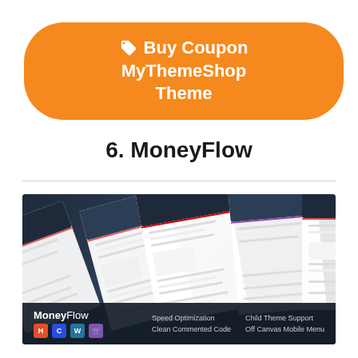[Figure (illustration): Orange rounded button with tag icon and text 'Buy Coupon MyThemeShop Theme']
6. MoneyFlow
[Figure (screenshot): MoneyFlow WordPress theme screenshot showing tilted mockup cards of website layouts on dark navy background, with bottom bar showing brand name 'MoneyFlow', HTML/CSS/WordPress/WooCommerce icons, and features: Speed Optimization, Clean Commented Code, Child Theme Support, Off Canvas Mobile Menu]